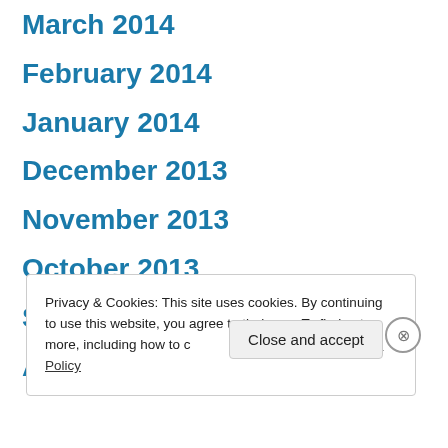March 2014
February 2014
January 2014
December 2013
November 2013
October 2013
September 2013
August 2013
Privacy & Cookies: This site uses cookies. By continuing to use this website, you agree to their use. To find out more, including how to control cookies, see here: Cookie Policy